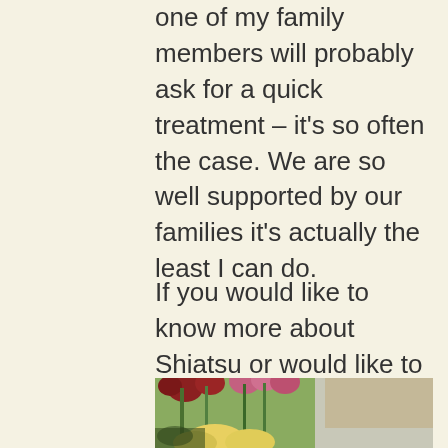one of my family members will probably ask for a quick treatment – it's so often the case. We are so well supported by our families it's actually the least I can do.
If you would like to know more about Shiatsu or would like to book a massage before I go on holiday then get in touch through the contact me page.
[Figure (photo): A photograph of flower arrangements including pink and red tulips, yellow roses or daffodils, and green stems in vases, appearing to be in an indoor setting.]